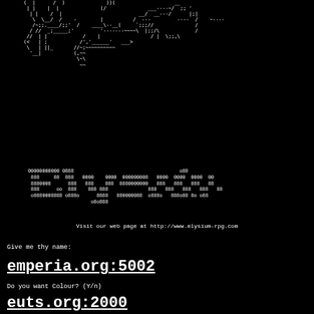[Figure (illustration): ASCII art of a dragon or creature made of text characters on black background]
00000000000 0888                                     o88
 888     88  888   0000    0000  000000008   0000  0000  0000  00
 8880008      888   888    888  8880000000   888   888   888   88
 888      00  888    888 888              888   888   888   888   88
 o8880008888 o888o      8888   880000088  o888o   888o88 8o o88
                      o8o888
Visit our web page at http://www.elysium-rpg.com
Give me thy name:
emperia.org:5002
Do you want Colour? (Y/n)
euts.org:2000